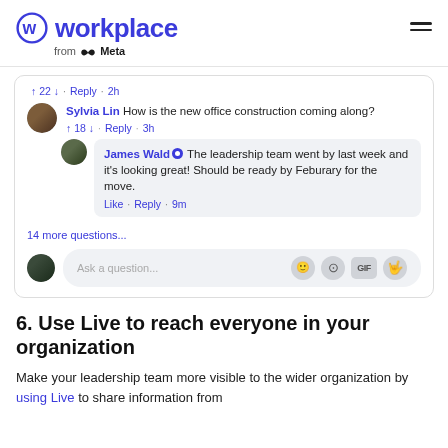workplace from Meta
[Figure (screenshot): Social media comment thread showing: vote row '↑ 22 ↓ · Reply · 2h', Sylvia Lin comment 'How is the new office construction coming along?' with vote row '↑ 18 ↓ · Reply · 3h', James Wald reply 'The leadership team went by last week and it's looking great! Should be ready by Feburary for the move.' with 'Like · Reply · 9m', '14 more questions...', and an 'Ask a question...' input bar with emoji/camera/GIF/heart icons.]
6. Use Live to reach everyone in your organization
Make your leadership team more visible to the wider organization by using Live to share information from